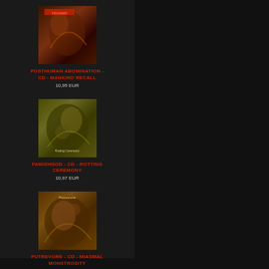[Figure (photo): Album cover for Posthuman Abomination - Mankind Recall, dark death metal artwork]
POSTHUMAN ABOMINATION - CD - MANKIND RECALL
10,95 EUR
[Figure (photo): Album cover for Famishgod - Rotting Ceremony, dark death metal artwork]
FAMISHGOD - CD - ROTTING CEREMONY
10,97 EUR
[Figure (photo): Album cover for Putrevore - Miasmal Monstrosity, dark death metal artwork]
PUTREVORE - CD - MIASMAL MONSTROSITY
10,95 EUR